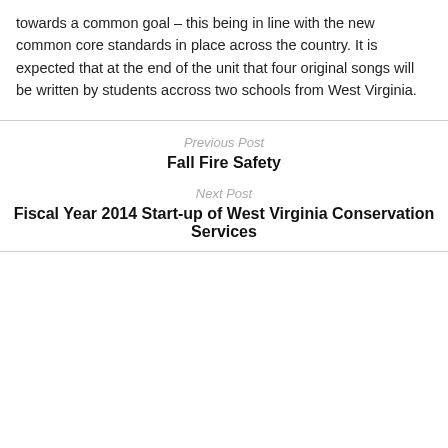towards a common goal – this being in line with the new common core standards in place across the country. It is expected that at the end of the unit that four original songs will be written by students accross two schools from West Virginia.
Previous Post
Fall Fire Safety
Next Post
Fiscal Year 2014 Start-up of West Virginia Conservation Services